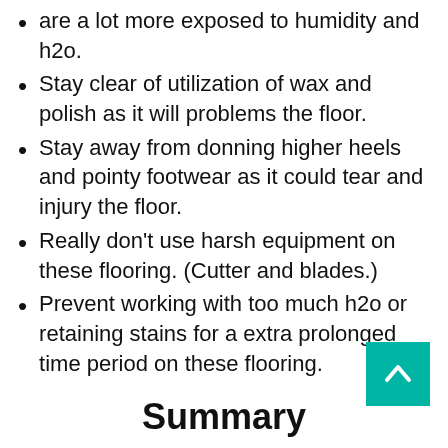are a lot more exposed to humidity and h2o.
Stay clear of utilization of wax and polish as it will problems the floor.
Stay away from donning higher heels and pointy footwear as it could tear and injury the floor.
Really don't use harsh equipment on these flooring. (Cutter and blades.)
Prevent working with too much h2o or retaining stains for a extra prolonged time period on these flooring.
Summary
Cleansing can be a definitely busy task for some individuals. As soon as you test to maintain issues neat and thoroughly clean, it can get addicting.
Equally, cleansing the mohawk laminate floors is